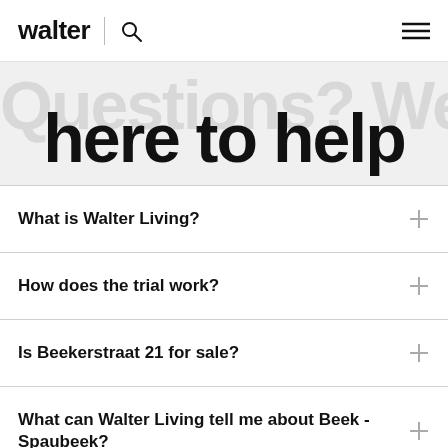walter
here to help
What is Walter Living?
How does the trial work?
Is Beekerstraat 21 for sale?
What can Walter Living tell me about Beek - Spaubeek?